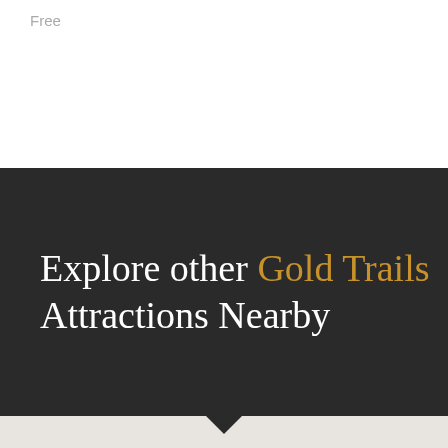Free
Explore other Gold Trails Attractions Nearby
SHOW ON MAP